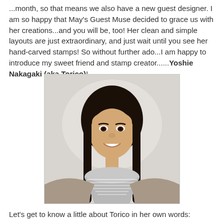...month, so that means we also have a new guest designer. I am so happy that May's Guest Muse decided to grace us with her creations...and you will be, too!  Her clean and simple layouts are just extraordinary, and just wait until you see her hand-carved stamps!  So without further ado...I am happy to introduce my sweet friend and stamp creator......Yoshie Nakagaki (aka Torico)!
[Figure (photo): Portrait photo of a smiling Asian woman with long dark hair and bangs, wearing a striped turtleneck and gray cardigan, against a light background.]
Let's get to know a little about Torico in her own words: